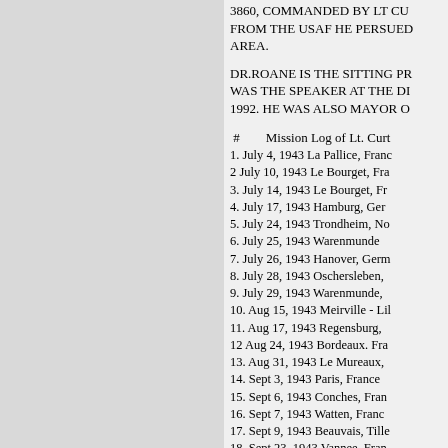3860, COMMANDED BY LT CU... FROM THE USAF HE PERSUED... AREA.
DR.ROANE IS THE SITTING PR... WAS THE SPEAKER AT THE DI... 1992. HE WAS ALSO MAYOR O...
#        Mission Log of Lt. Curt...
1. July 4, 1943 La Pallice, Franc...
2 July 10, 1943 Le Bourget, Fra...
3. July 14, 1943 Le Bourget, Fr...
4. July 17, 1943 Hamburg, Ger...
5. July 24, 1943 Trondheim, No...
6. July 25, 1943 Warenmunde ...
7. July 26, 1943 Hanover, Germ...
8. July 28, 1943 Oschersleben, ...
9. July 29, 1943 Warenmunde, ...
10. Aug 15, 1943 Meirville - Lil...
11. Aug 17, 1943 Regensburg, ...
12 Aug 24, 1943 Bordeaux. Fra...
13. Aug 31, 1943 Le Mureaux, ...
14. Sept 3, 1943 Paris, France ...
15. Sept 6, 1943 Conches, Fran...
16. Sept 7, 1943 Watten, Franc...
17. Sept 9, 1943 Beauvais, Tille...
18. Sept 23, 1943 Vannee, Fran...
19. Sept 26, 1943 Paris, France...
20. Sept 27, 1943 Emden, Ger...